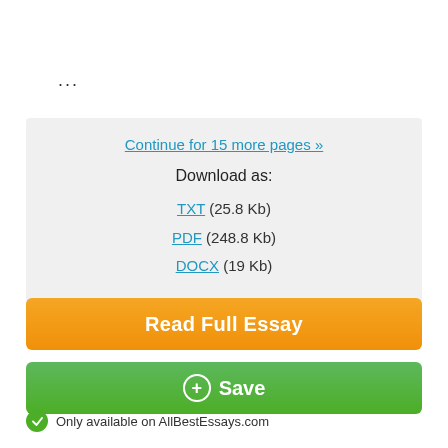...
Continue for 15 more pages »
Download as:
TXT (25.8 Kb)
PDF (248.8 Kb)
DOCX (19 Kb)
Read Full Essay
+ Save
Only available on AllBestEssays.com